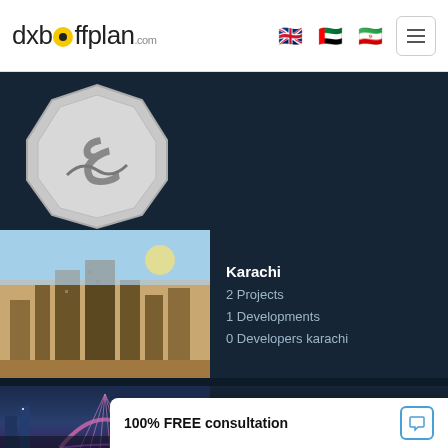dxboffplan.com
[Figure (logo): Samandehi.ir certification badge with Persian text 'در حال بررسی samandehi.ir نشان ملی ثبت (رسانه‌های دیجیتال)']
[Figure (photo): Aerial view of Karachi city skyline with buildings]
Karachi
2 Projects
1 Developments
0 Developers karachi
[Figure (photo): Dubai city skyline at night with arch bridge and illuminated buildings]
Dubai
996 Projects
100% FREE consultation